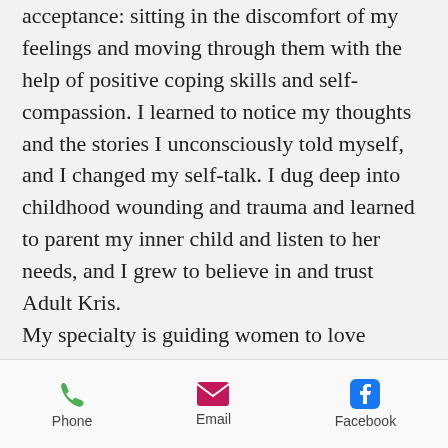acceptance: sitting in the discomfort of my feelings and moving through them with the help of positive coping skills and self-compassion. I learned to notice my thoughts and the stories I unconsciously told myself, and I changed my self-talk. I dug deep into childhood wounding and trauma and learned to parent my inner child and listen to her needs, and I grew to believe in and trust Adult Kris.

My specialty is guiding women to love themselves through the hard shit by shifting into radical self-love. We heal
Phone  Email  Facebook